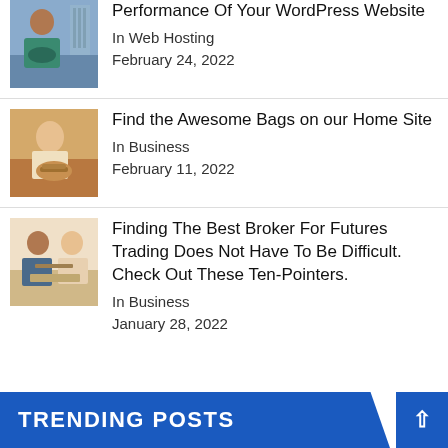[Figure (photo): Person sitting at desk thinking, with bookshelf in background]
Performance Of Your WordPress Website
In Web Hosting
February 24, 2022
[Figure (photo): Person outdoors with stacked plates or baskets]
Find the Awesome Bags on our Home Site
In Business
February 11, 2022
[Figure (photo): Two people working together at a desk with documents]
Finding The Best Broker For Futures Trading Does Not Have To Be Difficult. Check Out These Ten-Pointers.
In Business
January 28, 2022
TRENDING POSTS